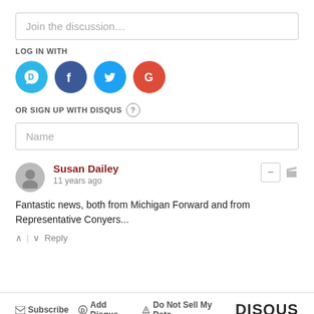Join the discussion…
LOG IN WITH
[Figure (illustration): Four social login icons: Disqus (blue), Facebook (dark blue), Twitter (light blue), Google (red)]
OR SIGN UP WITH DISQUS ?
Name
Susan Dailey
11 years ago
Fantastic news, both from Michigan Forward and from Representative Conyers...
↑ | ↓  Reply
✉ Subscribe  Ⓓ Add Disqus  ▲ Do Not Sell My Data  DISQUS